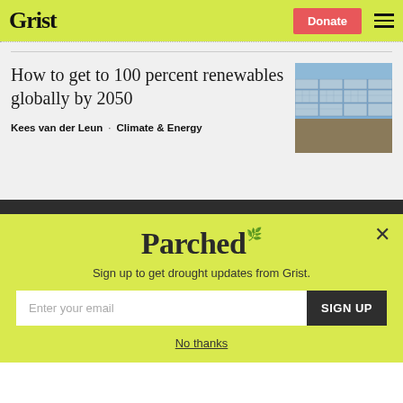Grist  Donate
How to get to 100 percent renewables globally by 2050
Kees van der Leun · Climate & Energy
[Figure (photo): Aerial view of solar panels in a large solar farm field under blue sky]
Parched
Sign up to get drought updates from Grist.
Enter your email  SIGN UP
No thanks